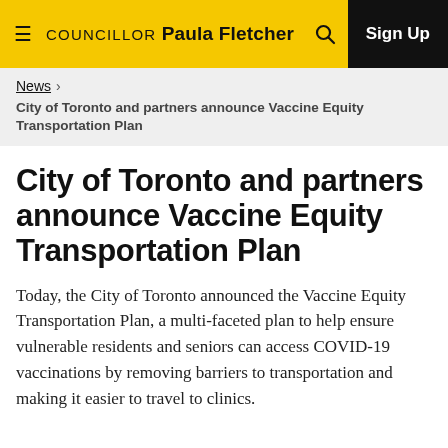COUNCILLOR Paula Fletcher — Sign Up
News > City of Toronto and partners announce Vaccine Equity Transportation Plan
City of Toronto and partners announce Vaccine Equity Transportation Plan
Today, the City of Toronto announced the Vaccine Equity Transportation Plan, a multi-faceted plan to help ensure vulnerable residents and seniors can access COVID-19 vaccinations by removing barriers to transportation and making it easier to travel to clinics.